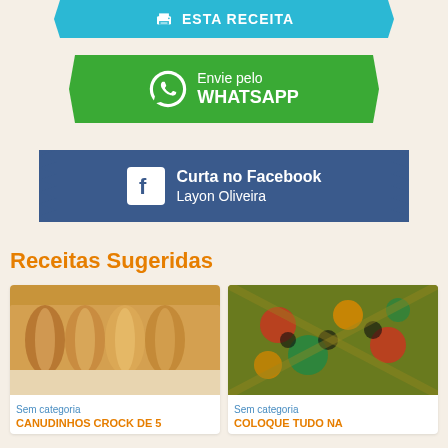[Figure (infographic): Cyan ribbon banner with printer icon and text ESTA RECEITA]
[Figure (infographic): Green ribbon banner with WhatsApp icon and text Envie pelo WHATSAPP]
[Figure (infographic): Dark blue zigzag ribbon banner with Facebook icon and text Curta no Facebook / Layon Oliveira]
Receitas Sugeridas
[Figure (photo): Photo of rolled crepes/canudinhos on a plate]
Sem categoria
CANUDINHOS CROCK DE 5
[Figure (photo): Photo of a colorful vegetable and bean dish]
Sem categoria
COLOQUE TUDO NA